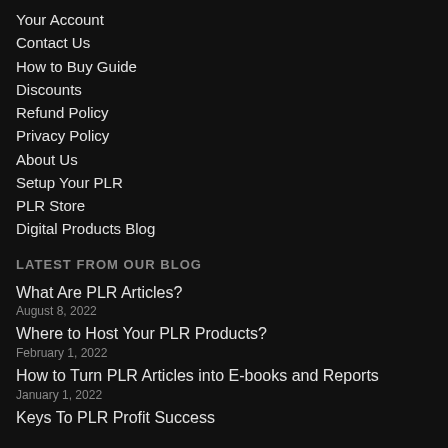Your Account
Contact Us
How to Buy Guide
Discounts
Refund Policy
Privacy Policy
About Us
Setup Your PLR
PLR Store
Digital Products Blog
LATEST FROM OUR BLOG
What Are PLR Articles?
August 8, 2022
Where to Host Your PLR Products?
February 1, 2022
How to Turn PLR Articles into E-books and Reports
January 1, 2022
Keys To PLR Profit Success